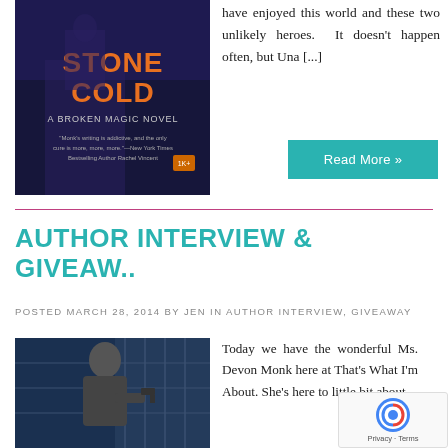[Figure (photo): Book cover for Stone Cold - A Broken Magic Novel with dark blue/purple background and orange text]
have enjoyed this world and these two unlikely heroes. It doesn't happen often, but Una [...]
Read More »
AUTHOR INTERVIEW & GIVEAW..
POSTED MARCH 28, 2014 BY JEN IN AUTHOR INTERVIEW, GIVEAWAY
[Figure (photo): A man in dark clothing holding a gun, action scene]
Today we have the wonderful Ms. Devon Monk here at That's What I'm About. She's here to little bit about...